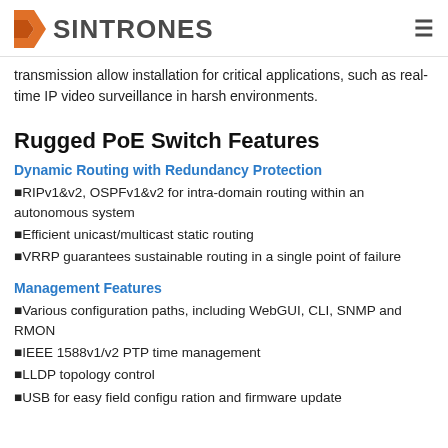SINTRONES
transmission allow installation for critical applications, such as real-time IP video surveillance in harsh environments.
Rugged PoE Switch Features
Dynamic Routing with Redundancy Protection
▪RIPv1&v2, OSPFv1&v2 for intra-domain routing within an autonomous system
▪Efficient unicast/multicast static routing
▪VRRP guarantees sustainable routing in a single point of failure
Management Features
▪Various configuration paths, including WebGUI, CLI, SNMP and RMON
▪IEEE 1588v1/v2 PTP time management
▪LLDP topology control
▪USB for easy field configu ration and firmware update